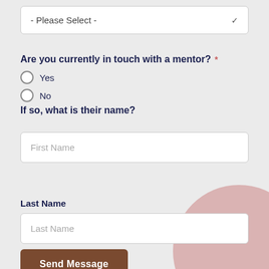- Please Select -
Are you currently in touch with a mentor? *
Yes
No
If so, what is their name?
First Name
Last Name
Last Name
Send Message